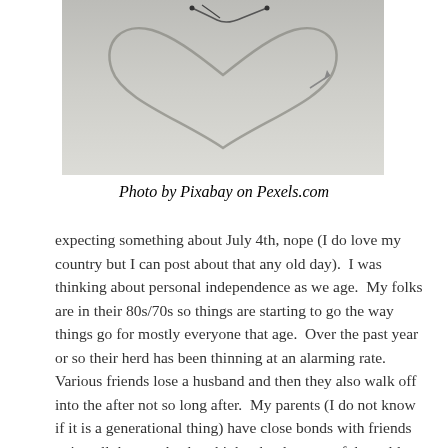[Figure (photo): A heart shape drawn in sand or snow, photographed from above on a white/grey surface. Small objects visible at top.]
Photo by Pixabay on Pexels.com
expecting something about July 4th, nope (I do love my country but I can post about that any old day).  I was thinking about personal independence as we age.  My folks are in their 80s/70s so things are starting to go the way things go for mostly everyone that age.  Over the past year or so their herd has been thinning at an alarming rate.  Various friends lose a husband and then they also walk off into the after not so long after.  My parents (I do not know if it is a generational thing) have close bonds with friends going all the way back to high school… sort of the golden age of USA high school like you would see idolized in the movies…  My father in his